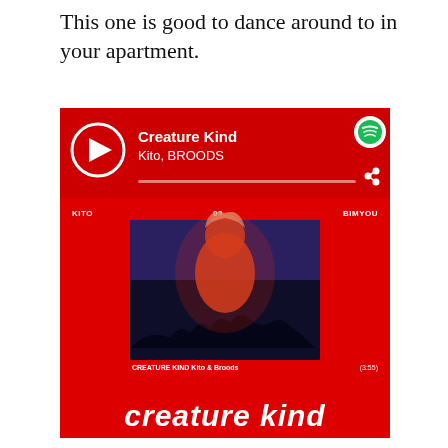This one is good to dance around to in your apartment.
[Figure (screenshot): Spotify player widget showing 'Creature Kind' by Kito, BROODS. Red background with play button, progress bar, Spotify logo, share icon. Album art section shows red background with 'KITO', '03', 'BIMYOU' labels, a photo of a woman in red/blue lighting, caption 'CREATURE KIND Kito & Broods (3:55)', and large bold italic text 'creature kind' at the bottom.]